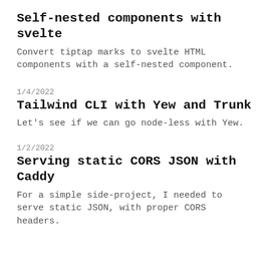Self-nested components with svelte
Convert tiptap marks to svelte HTML components with a self-nested component.
1/4/2022
Tailwind CLI with Yew and Trunk
Let's see if we can go node-less with Yew.
1/2/2022
Serving static CORS JSON with Caddy
For a simple side-project, I needed to serve static JSON, with proper CORS headers.